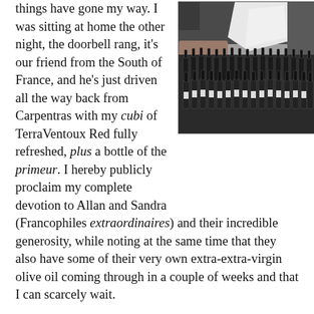things have gone my way. I was sitting at home the other night, the doorbell rang, it's our friend from the South of France, and he's just driven all the way back from Carpentras with my cubi of TerraVentoux Red fully refreshed, plus a bottle of the primeur. I hereby publicly proclaim my complete devotion to Allan and Sandra (Francophiles extraordinaires) and their incredible generosity, while noting at the same time that they also have some of their very own extra-extra-virgin olive oil coming through in a couple of weeks and that I can scarcely wait.
[Figure (photo): Black and white photograph showing many wine bottles arranged in rows, with people's hands and white cloth visible at the top.]
Observe my familiarity, incidentally, with this chi-chi term primeur, such as would send PK into a tizzy of noddings and approvings. I have carefully laid this precious bottle in my dusty and almost entirely unpopulated wine rack, and am